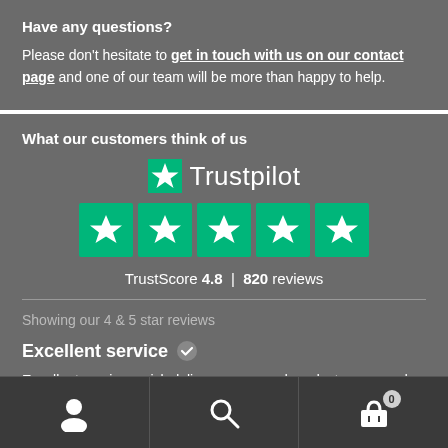Have any questions?
Please don't hesitate to get in touch with us on our contact page and one of our team will be more than happy to help.
What our customers think of us
[Figure (infographic): Trustpilot logo with green star and text 'Trustpilot', five green star rating boxes, TrustScore 4.8 | 820 reviews]
Showing our 4 & 5 star reviews
Excellent service
Excellent service, quick delivery, very good product, very good packaging . Thankyou